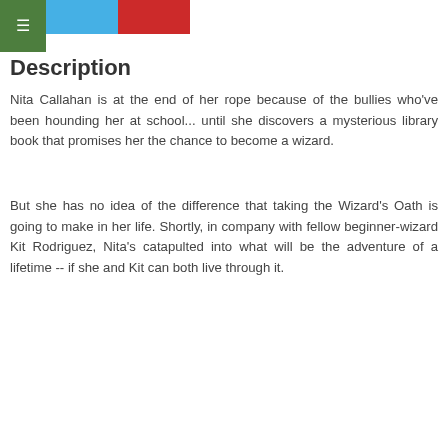[Figure (other): Social sharing buttons: green hamburger menu button, blue Twitter button, red Pinterest button]
Description
Nita Callahan is at the end of her rope because of the bullies who've been hounding her at school... until she discovers a mysterious library book that promises her the chance to become a wizard.
But she has no idea of the difference that taking the Wizard's Oath is going to make in her life. Shortly, in company with fellow beginner-wizard Kit Rodriguez, Nita's catapulted into what will be the adventure of a lifetime -- if she and Kit can both live through it.